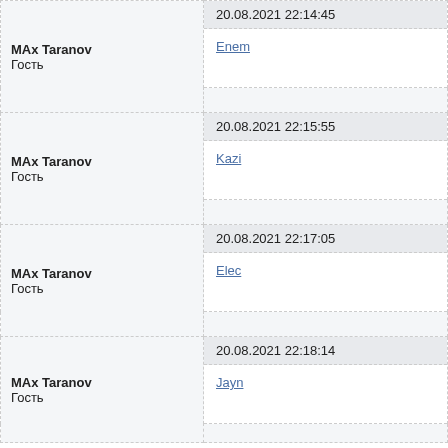| Author | Date/Message |
| --- | --- |
| MAx Taranov
Гость | 20.08.2021 22:14:45 | Enem |
| MAx Taranov
Гость | 20.08.2021 22:15:55 | Kazi |
| MAx Taranov
Гость | 20.08.2021 22:17:05 | Elec |
| MAx Taranov
Гость | 20.08.2021 22:18:14 | Jayn |